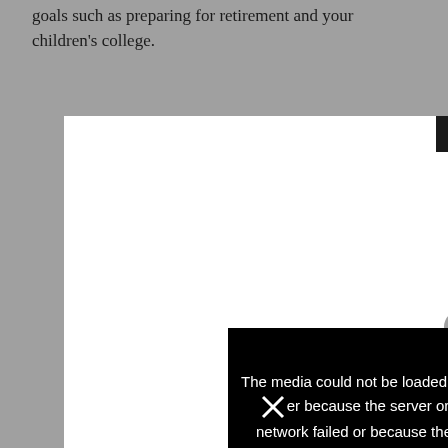goals such as preparing for retirement and your children's college.
[Figure (other): A video player area (white rectangle) with a black close button marked X in the top-right corner, and a circular close button on the right side. An error overlay in the lower portion displays the message: 'The media could not be loaded, either because the server or network failed or because the']